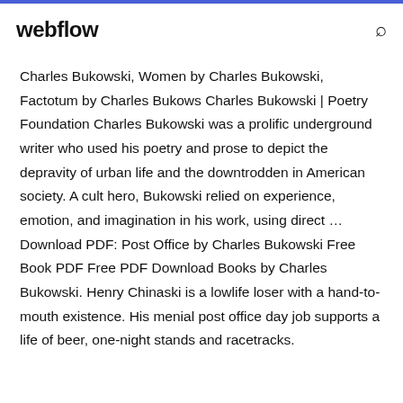webflow
Charles Bukowski, Women by Charles Bukowski, Factotum by Charles Bukows Charles Bukowski | Poetry Foundation Charles Bukowski was a prolific underground writer who used his poetry and prose to depict the depravity of urban life and the downtrodden in American society. A cult hero, Bukowski relied on experience, emotion, and imagination in his work, using direct … Download PDF: Post Office by Charles Bukowski Free Book PDF Free PDF Download Books by Charles Bukowski. Henry Chinaski is a lowlife loser with a hand-to-mouth existence. His menial post office day job supports a life of beer, one-night stands and racetracks.